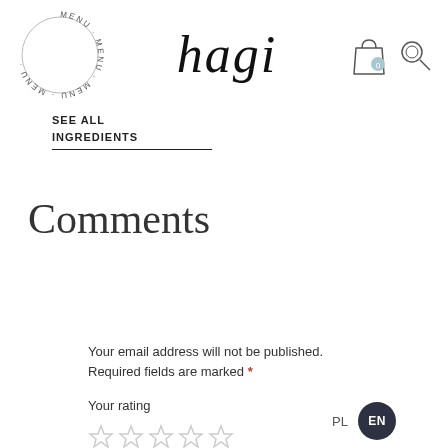[Figure (logo): Hagi brand website header with circular MENU text logo on left, 'hagi' serif italic wordmark in center, shopping bag icon with '0' badge and magnifying glass search icon on right]
SEE ALL INGREDIENTS
Comments
Your email address will not be published. Required fields are marked *
Your rating
[Figure (other): Five grey star rating icons]
PL  EN